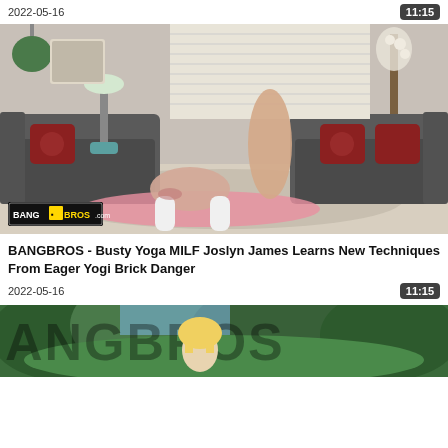2022-05-16    11:15
[Figure (photo): Video thumbnail showing explicit adult content with BANGBROS watermark logo in bottom left corner. Indoor living room setting with gray sofas and colorful pillows.]
BANGBROS - Busty Yoga MILF Joslyn James Learns New Techniques From Eager Yogi Brick Danger
2022-05-16    11:15
[Figure (photo): Partial video thumbnail showing outdoor green foliage scene with a blonde person visible, partially obscured by large text overlay.]